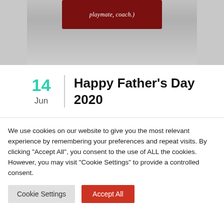[Figure (photo): Partial photo of a dark red/maroon box or book with italic white text reading '...playmate, coach.' on a light gray surface.]
Happy Father's Day 2020
We use cookies on our website to give you the most relevant experience by remembering your preferences and repeat visits. By clicking "Accept All", you consent to the use of ALL the cookies. However, you may visit "Cookie Settings" to provide a controlled consent.
Cookie Settings | Accept All